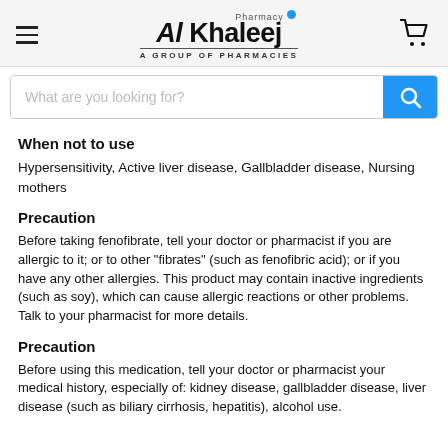Al Khaleej Pharmacy — A GROUP OF PHARMACIES
When not to use
Hypersensitivity, Active liver disease, Gallbladder disease, Nursing mothers
Precaution
Before taking fenofibrate, tell your doctor or pharmacist if you are allergic to it; or to other "fibrates" (such as fenofibric acid); or if you have any other allergies. This product may contain inactive ingredients (such as soy), which can cause allergic reactions or other problems. Talk to your pharmacist for more details.
Precaution
Before using this medication, tell your doctor or pharmacist your medical history, especially of: kidney disease, gallbladder disease, liver disease (such as biliary cirrhosis, hepatitis), alcohol use.